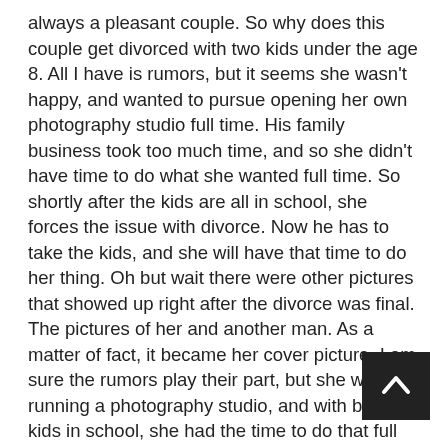always a pleasant couple. So why does this couple get divorced with two kids under the age 8. All I have is rumors, but it seems she wasn't happy, and wanted to pursue opening her own photography studio full time. His family business took too much time, and so she didn't have time to do what she wanted full time. So shortly after the kids are all in school, she forces the issue with divorce. Now he has to take the kids, and she will have that time to do her thing. Oh but wait there were other pictures that showed up right after the divorce was final. The pictures of her and another man. As a matter of fact, it became her cover picture. I am sure the rumors play their part, but she was running a photography studio, and with both kids in school, she had the time to do that full time. A studio that she would not of had the luxury to open if it hadn't been for that husband and his job supporting her getting started, with the expensive cameras and equipment, general lack of income until her name became known.